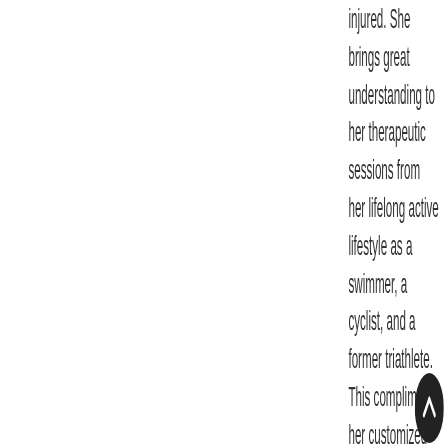injured. She brings great understanding to her therapeutic sessions from her lifelong active lifestyle as a swimmer, a cyclist, and a former triathlete. This compliments her customized training in the healing art of bodywork.
Once begins- licensed